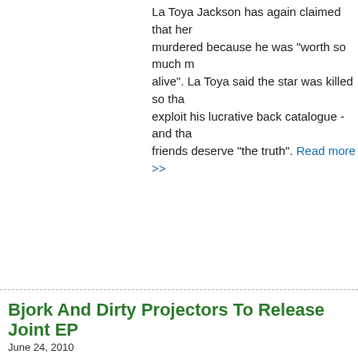La Toya Jackson has again claimed that her brother Michael was murdered because he was "worth so much more dead than alive". La Toya said the star was killed so that someone could exploit his lucrative back catalogue - and that his family and friends deserve "the truth". Read more >>
Bjork And Dirty Projectors To Release Joint EP
June 24, 2010
Bjork and the Dirty Projectors are set to release a joint EP entitled 'Mount Wittenberg Orca'. The seven-track release was recorded in New York and includes songs originally performed at a benefit concert in the city last year. Read mo...
Blonde Redhead Announce New Album And Londo...
June 24, 2010
Blonde Redhead have announced details of their new album 'Penny Sparkle'. The LP, released on Septe...